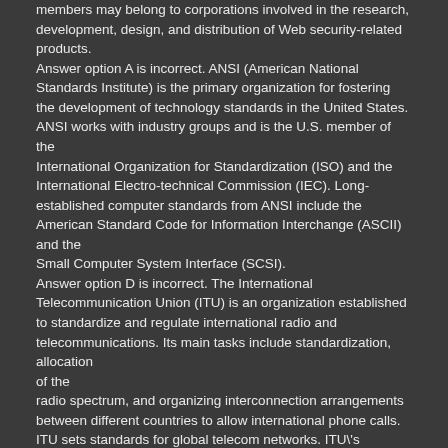members may belong to corporations involved in the research, development, design, and distribution of Web security-related products. Answer option A is incorrect. ANSI (American National Standards Institute) is the primary organization for fostering the development of technology standards in the United States. ANSI works with industry groups and is the U.S. member of the International Organization for Standardization (ISO) and the International Electro-technical Commission (IEC). Long-established computer standards from ANSI include the American Standard Code for Information Interchange (ASCII) and the Small Computer System Interface (SCSI). Answer option D is incorrect. The International Telecommunication Union (ITU) is an organization established to standardize and regulate international radio and telecommunications. Its main tasks include standardization, allocation of the radio spectrum, and organizing interconnection arrangements between different countries to allow international phone calls. ITU sets standards for global telecom networks. ITU's telecommunications division (ITU-T) produces more than